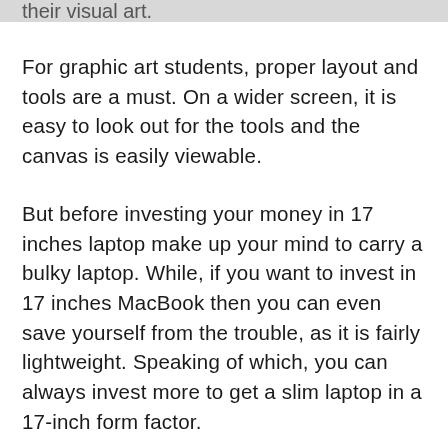their visual art.
For graphic art students, proper layout and tools are a must. On a wider screen, it is easy to look out for the tools and the canvas is easily viewable.
But before investing your money in 17 inches laptop make up your mind to carry a bulky laptop. While, if you want to invest in 17 inches MacBook then you can even save yourself from the trouble, as it is fairly lightweight. Speaking of which, you can always invest more to get a slim laptop in a 17-inch form factor.